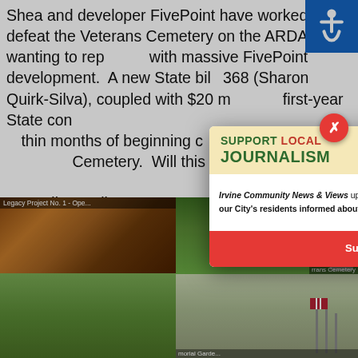Shea and developer FivePoint have worked to defeat the Veterans Cemetery on the ARDA site, wanting to replace it with massive FivePoint development. A new State bill, 368 (Sharon Quirk-Silva), coupled with $20 million in first-year State construction funds, would move it along within months of beginning construction of the Veterans Cemetery. Will this legacy project receive proper support from the Irvine City Council? Or, like past projects, will it require yet more citizen initiative petitions? We'll soon know.
[Figure (photo): Partial view of rock/terrain photo labeled 'Legacy Project No. 1 - Ope...']
[Figure (photo): Photo of green field/park area (partial)]
[Figure (photo): Photo labeled 'ect No. 3 - Veterans Cemetery' showing green manicured cemetery grounds with American flags]
[Figure (screenshot): Pop-up modal advertisement for 'Support Local Journalism' from Irvine Community News & Views, with a red close button (X) and a red 'Support Our Work! Chip in Now!' button]